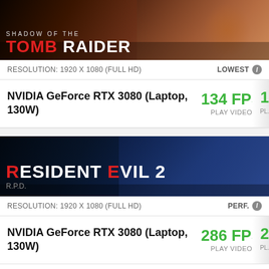[Figure (screenshot): Shadow of the Tomb Raider game banner with dark reddish-brown background]
RESOLUTION: 1920 X 1080 (FULL HD)   LOWEST
NVIDIA GeForce RTX 3080 (Laptop, 130W)   134 FPS   PLAY VIDEO
[Figure (screenshot): Resident Evil 2 game banner with dark blue background showing characters]
RESOLUTION: 1920 X 1080 (FULL HD)   PERF.
NVIDIA GeForce RTX 3080 (Laptop, 130W)   286 FPS   PLAY VIDEO